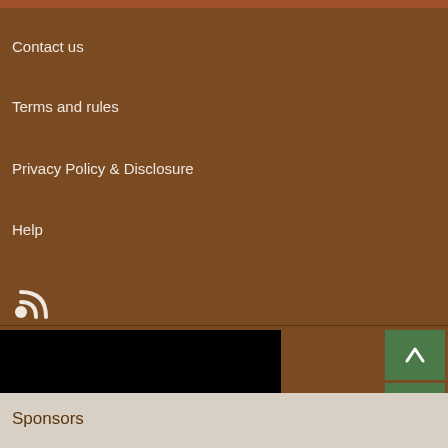Contact us
Terms and rules
Privacy Policy & Disclosure
Help
[Figure (illustration): RSS feed icon]
[Figure (screenshot): Black video player area with close button (X) and navigation up/down arrow buttons in green]
Sponsors